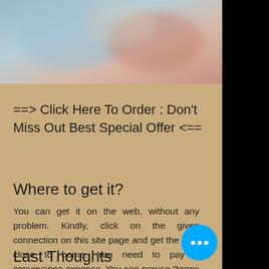[Figure (photo): Blurred background image showing light blue and pink/skin tones, suggesting a lifestyle/health product context]
==> Click Here To Order : Don't Miss Out Best Special Offer <==
Where to get it?
You can get it on the web, without any problem. Kindly, click on the given connection on this site page and get the item close to home. You need to pay a conveyance expense. You can peruse "terms and conditions" whenever.
Last Thoughts